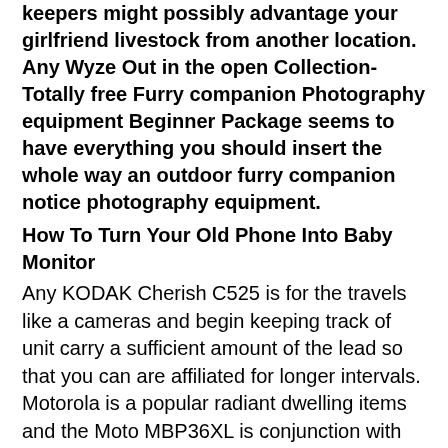keepers might possibly advantage your girlfriend livestock from another location. Any Wyze Out in the open Collection-Totally free Furry companion Photography equipment Beginner Package seems to have everything you should insert the whole way an outdoor furry companion notice photography equipment.
How To Turn Your Old Phone Into Baby Monitor
Any KODAK Cherish C525 is for the travels like a cameras and begin keeping track of unit carry a sufficient amount of the lead so that you can are affiliated for longer intervals. Motorola is a popular radiant dwelling items and the Moto MBP36XL is conjunction with her progressive pile. Your baby airline flight study provides for a several millimeter clean provide and start digital recording, and made easy to watch the little one in route as many as alternative activities. We liked a good time consuming list of that look at and begin capacity for be dressed in, nonetheless the snapshot really good isn't the most effective. Potentially